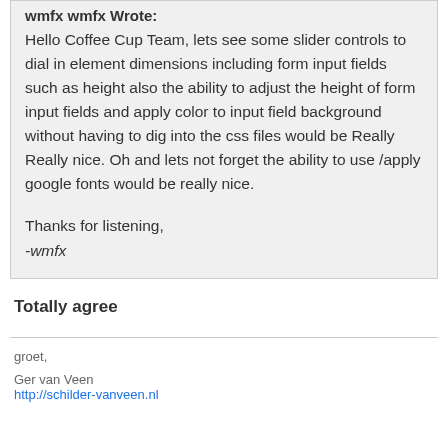wmfx wmfx Wrote:
Hello Coffee Cup Team, lets see some slider controls to dial in element dimensions including form input fields such as height also the ability to adjust the height of form input fields and apply color to input field background without having to dig into the css files would be Really Really nice. Oh and lets not forget the ability to use /apply google fonts would be really nice.
Thanks for listening,
-wmfx
Totally agree
groet,
Ger van Veen
http://schilder-vanveen.nl